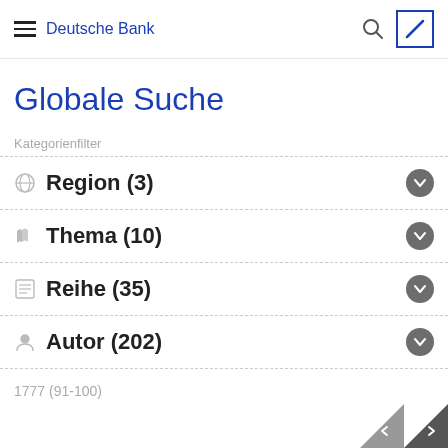Deutsche Bank
Globale Suche
Kategorienfilter
Region (3)
Thema (10)
Reihe (35)
Autor (202)
1777 (91-100)